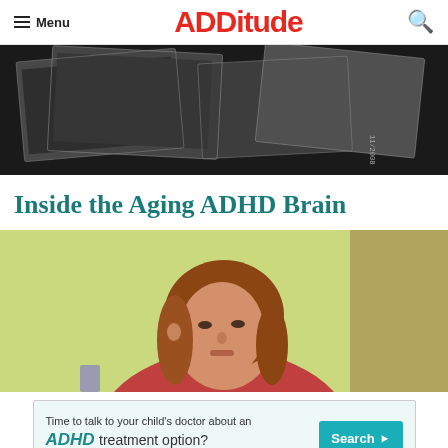Menu | ADDitude | Search
[Figure (photo): Black and white scattered photographs on a dark surface]
Inside the Aging ADHD Brain
[Figure (photo): Woman with red/auburn hair wearing a red turtleneck sweater, sitting in a room with a yellow-green wall, looking thoughtful]
[Figure (other): Advertisement banner: 'Time to talk to your child's doctor about an ADHD treatment option?' with a Search button and code S42012 08/18]
ADVERTISEMENT